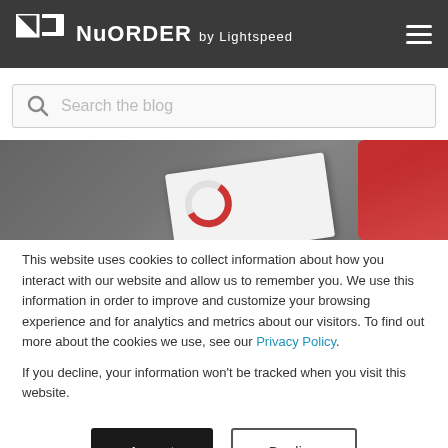NuORDER by Lightspeed
[Figure (screenshot): Search bar with magnifying glass icon and placeholder text 'Search the blog']
[Figure (photo): Hero image showing printed report pages with red accent and donut chart graphic on a gray background]
This website uses cookies to collect information about how you interact with our website and allow us to remember you. We use this information in order to improve and customize your browsing experience and for analytics and metrics about our visitors. To find out more about the cookies we use, see our Privacy Policy.
If you decline, your information won't be tracked when you visit this website.
Accept  Decline